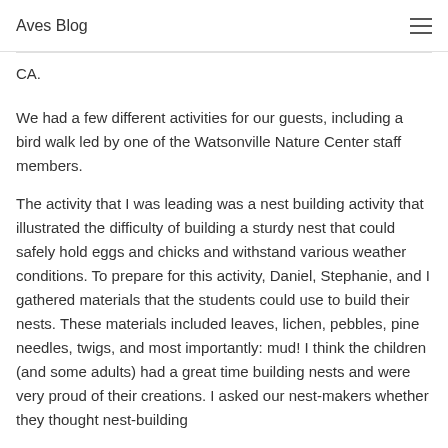Aves Blog
CA.
We had a few different activities for our guests, including a bird walk led by one of the Watsonville Nature Center staff members.
The activity that I was leading was a nest building activity that illustrated the difficulty of building a sturdy nest that could safely hold eggs and chicks and withstand various weather conditions. To prepare for this activity, Daniel, Stephanie, and I gathered materials that the students could use to build their nests. These materials included leaves, lichen, pebbles, pine needles, twigs, and most importantly: mud! I think the children (and some adults) had a great time building nests and were very proud of their creations. I asked our nest-makers whether they thought nest-building